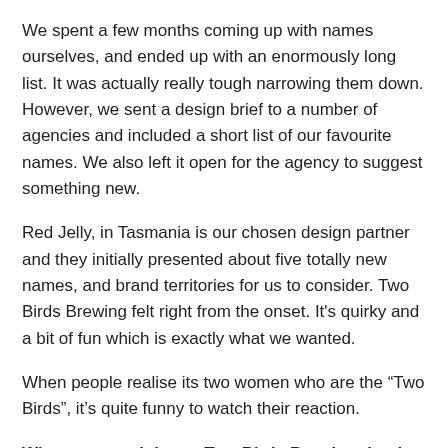We spent a few months coming up with names ourselves, and ended up with an enormously long list. It was actually really tough narrowing them down. However, we sent a design brief to a number of agencies and included a short list of our favourite names. We also left it open for the agency to suggest something new.
Red Jelly, in Tasmania is our chosen design partner and they initially presented about five totally new names, and brand territories for us to consider. Two Birds Brewing felt right from the onset. It's quirky and a bit of fun which is exactly what we wanted.
When people realise its two women who are the “Two Birds”, it’s quite funny to watch their reaction.
What are you doing at Two Birds Brewing that is